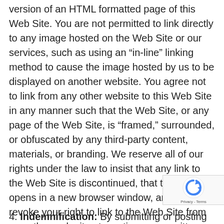version of an HTML formatted page of this Web Site. You are not permitted to link directly to any image hosted on the Web Site or our services, such as using an “in-line” linking method to cause the image hosted by us to be displayed on another website. You agree not to link from any other website to this Web Site in any manner such that the Web Site, or any page of the Web Site, is “framed,” surrounded, or obfuscated by any third-party content, materials, or branding. We reserve all of our rights under the law to insist that any link to the Web Site is discontinued, that the link opens in a new browser window, and/or to revoke your right to link to the Web Site from any other web site at any time upon written notice to you.
4. Indemnification: By submitting or posting